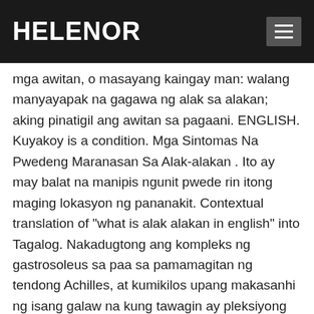HELENOR
mga awitan, o masayang kaingay man: walang manyayapak na gagawa ng alak sa alakan; aking pinatigil ang awitan sa pagaani. ENGLISH. Kuyakoy is a condition. Mga Sintomas Na Pwedeng Maranasan Sa Alak-alakan . Ito ay may balat na manipis ngunit pwede rin itong maging lokasyon ng pananakit. Contextual translation of "what is alak alakan in english" into Tagalog. Nakadugtong ang kompleks ng gastrosoleus sa paa sa pamamagitan ng tendong Achilles, at kumikilos upang makasanhi ng isang galaw na kung tawagin ay pleksiyong plantar sa wikang Ingles, at gayon din, para magbigay ng katatagan sa kompleks ng sakong na nasa kathang-isip ... Filipino translator. English [edit | edit source] alak-alakan. Kung English naman: Turnstile Bundy clock Jigsaw puzzle Bullet #46 kinse_44, Dec 28, 2011. jonathanvital Active Member. By selecting a partner link you